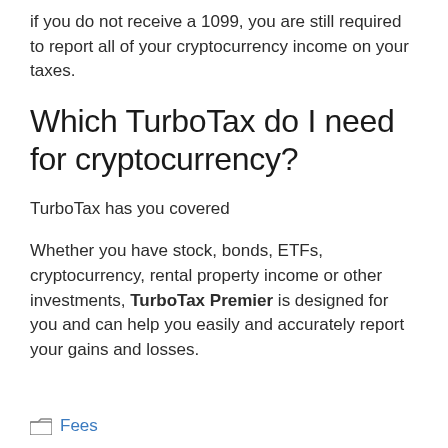if you do not receive a 1099, you are still required to report all of your cryptocurrency income on your taxes.
Which TurboTax do I need for cryptocurrency?
TurboTax has you covered
Whether you have stock, bonds, ETFs, cryptocurrency, rental property income or other investments, TurboTax Premier is designed for you and can help you easily and accurately report your gains and losses.
Fees